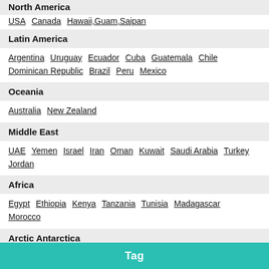North America
USA  Canada  Hawaii,Guam,Saipan
Latin America
Argentina  Uruguay  Ecuador  Cuba  Guatemala  Chile  Dominican Republic  Brazil  Peru  Mexico
Oceania
Australia  New Zealand
Middle East
UAE  Yemen  Israel  Iran  Oman  Kuwait  Saudi Arabia  Turkey  Jordan
Africa
Egypt  Ethiopia  Kenya  Tanzania  Tunisia  Madagascar  Morocco
Arctic Antarctica
Other
Airport
Tag